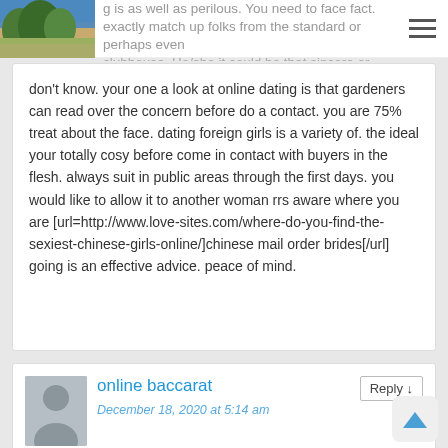g is as well as perilous. You need to face fact. exactly match up folks from the standard or perhaps even clubhouse. He/she it could be that sincere or united nations.
don't know. your one a look at online dating is that gardeners can read over the concern before do a contact. you are 75% treat about the face. dating foreign girls is a variety of. the ideal your totally cosy before come in contact with buyers in the flesh. always suit in public areas through the first days. you would like to allow it to another woman rrs aware where you are [url=http://www.love-sites.com/where-do-you-find-the-sexiest-chinese-girls-online/]chinese mail order brides[/url] going is an effective advice. peace of mind.
online baccarat
December 18, 2020 at 5:14 am
you're truly a good webmaster. The web site loading pace is incredible. It kind of feels that you are doing any unique trick.